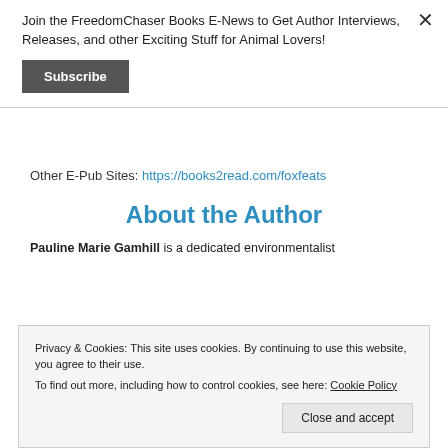Join the FreedomChaser Books E-News to Get Author Interviews, Releases, and other Exciting Stuff for Animal Lovers!
Subscribe
Other E-Pub Sites: https://books2read.com/foxfeats
About the Author
Pauline Marie Gamhill is a dedicated environmentalist
Privacy & Cookies: This site uses cookies. By continuing to use this website, you agree to their use.
To find out more, including how to control cookies, see here: Cookie Policy
Close and accept